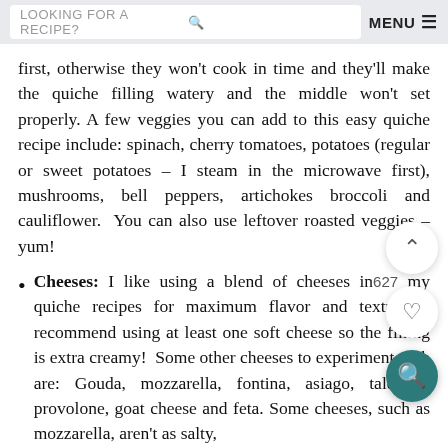LOOKING FOR A RECIPE? [search icon] MENU ≡
first, otherwise they won't cook in time and they'll make the quiche filling watery and the middle won't set properly. A few veggies you can add to this easy quiche recipe include: spinach, cherry tomatoes, potatoes (regular or sweet potatoes – I steam in the microwave first), mushrooms, bell peppers, artichokes broccoli and cauliflower. You can also use leftover roasted veggies – yum!
Cheeses: I like using a blend of cheeses in my quiche recipes for maximum flavor and texture. I recommend using at least one soft cheese so the filling is extra creamy! Some other cheeses to experiment with are: Gouda, mozzarella, fontina, asiago, taleggio, provolone, goat cheese and feta. Some cheeses, such as mozzarella, aren't as salty,